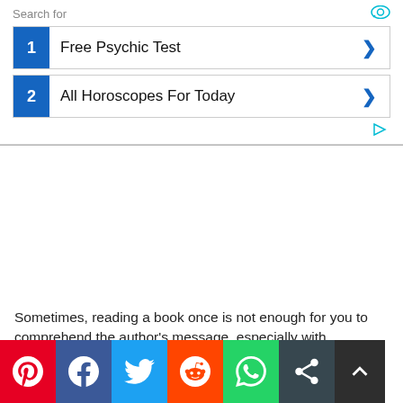Search for
1  Free Psychic Test
2  All Horoscopes For Today
[Figure (other): Blank white advertisement area]
Sometimes, reading a book once is not enough for you to comprehend the author's message, especially with abstract
[Figure (infographic): Social share bar with Pinterest, Facebook, Twitter, Reddit, WhatsApp, Share, and scroll-to-top buttons]